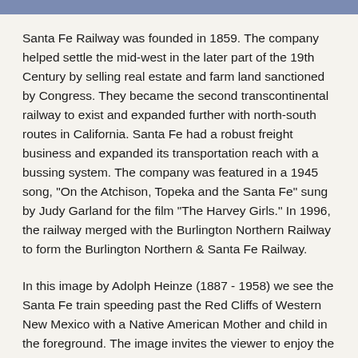Santa Fe Railway was founded in 1859. The company helped settle the mid-west in the later part of the 19th Century by selling real estate and farm land sanctioned by Congress. They became the second transcontinental railway to exist and expanded further with north-south routes in California. Santa Fe had a robust freight business and expanded its transportation reach with a bussing system. The company was featured in a 1945 song, "On the Atchison, Topeka and the Santa Fe" sung by Judy Garland for the film "The Harvey Girls." In 1996, the railway merged with the Burlington Northern Railway to form the Burlington Northern & Santa Fe Railway.
In this image by Adolph Heinze (1887 - 1958) we see the Santa Fe train speeding past the Red Cliffs of Western New Mexico with a Native American Mother and child in the foreground. The image invites the viewer to enjoy the newly expanded route of the railroad through the West and proudly